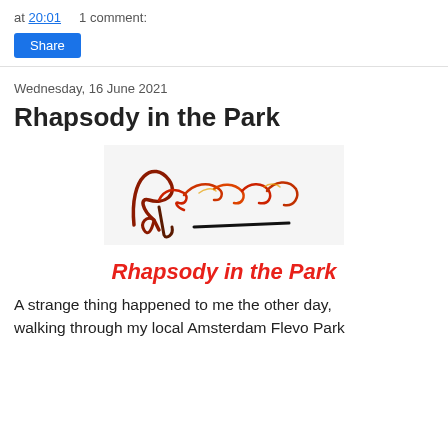at 20:01   1 comment:
Share
Wednesday, 16 June 2021
Rhapsody in the Park
[Figure (illustration): Colorful artistic signature/handwriting reading 'Perryman' in red, orange and dark ink with a horizontal underline stroke]
Rhapsody in the Park
A strange thing happened to me the other day, walking through my local Amsterdam Flevo Park